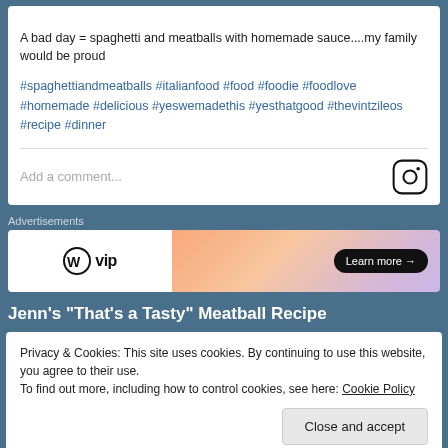A bad day = spaghetti and meatballs with homemade sauce....my family would be proud #spaghettiandmeatballs #italianfood #food #foodie #foodlove #homemade #delicious #yeswemadethis #yesthatgood #thevintzileos #recipe #dinner
Add a comment...
Advertisements
[Figure (other): WordPress VIP advertisement banner with 'Learn more' button]
Jenn’s “That’s a Tasty” Meatball Recipe
Privacy & Cookies: This site uses cookies. By continuing to use this website, you agree to their use.
To find out more, including how to control cookies, see here: Cookie Policy
Close and accept
Scroll/swipe and Select in the middle of the post...